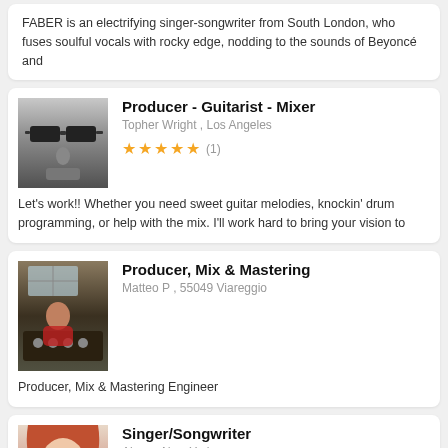FABER is an electrifying singer-songwriter from South London, who fuses soulful vocals with rocky edge, nodding to the sounds of Beyoncé and
[Figure (photo): Close-up grayscale photo of a person wearing sunglasses, showing nose and mouth area]
Producer - Guitarist - Mixer
Topher Wright , Los Angeles
★★★★★ (1)
Let's work!! Whether you need sweet guitar melodies, knockin' drum programming, or help with the mix. I'll work hard to bring your vision to
[Figure (photo): Photo of a person in a recording studio sitting at a mixing board, with warm lighting]
Producer, Mix & Mastering
Matteo P , 55049 Viareggio
Producer, Mix & Mastering Engineer
[Figure (photo): Partial photo of a woman with red/auburn hair, partial view]
Singer/Songwriter
Alexa , New York